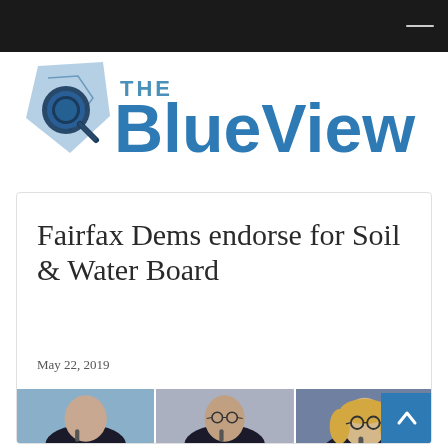[Figure (logo): The Blue View logo with magnifying glass over a map shape and bold blue text 'THE BlueView']
Fairfax Dems endorse for Soil & Water Board
May 22, 2019
[Figure (photo): Three people at microphones: a bald man in dark suit, an older man in dark suit with glasses, and a woman with glasses and blonde hair, speaking at an event with blue decorative background]